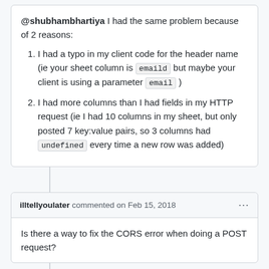@shubhambhartiya I had the same problem because of 2 reasons:
I had a typo in my client code for the header name (ie your sheet column is emaild but maybe your client is using a parameter email )
I had more columns than I had fields in my HTTP request (ie I had 10 columns in my sheet, but only posted 7 key:value pairs, so 3 columns had undefined every time a new row was added)
illtellyoulater commented on Feb 15, 2018
Is there a way to fix the CORS error when doing a POST request?
Prag1396 commented on Feb 18, 2018